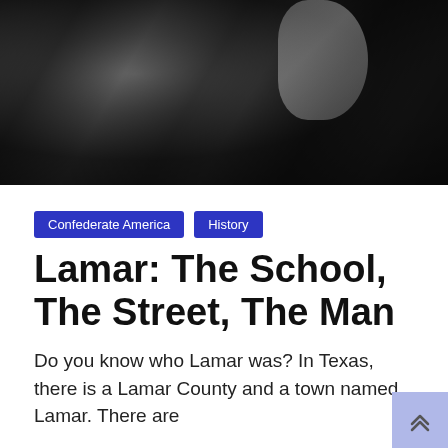[Figure (photo): Black and white historical photograph, close-up of a person, grayscale tones]
Confederate America
History
Lamar: The School, The Street, The Man
Do you know who Lamar was? In Texas, there is a Lamar County and a town named Lamar. There are
Read More